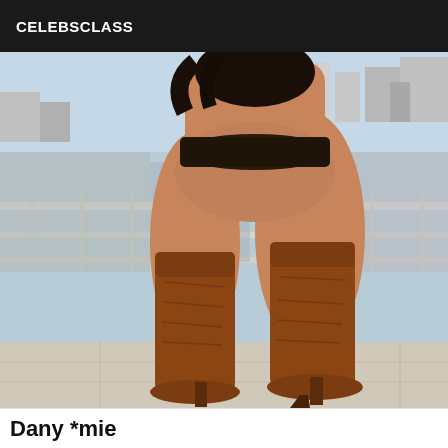CELEBSCLASS
[Figure (photo): A woman standing on a balcony wearing brown knee-high high-heeled boots and a dark bikini bottom, viewed from behind, with a cityscape background.]
Dany *mie